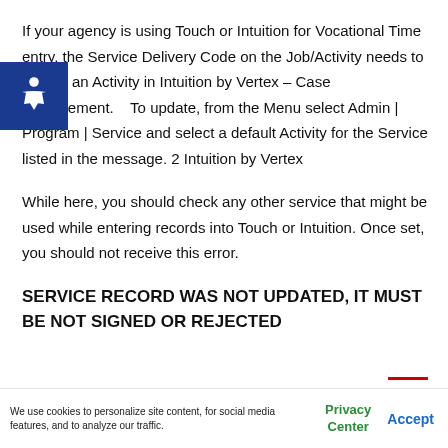If your agency is using Touch or Intuition for Vocational Time entry, the Service Delivery Code on the Job/Activity needs to map to an Activity in Intuition by Vertex – Case Management.   To update, from the Menu select Admin | Program | Service and select a default Activity for the Service listed in the message. 2 Intuition by Vertex
While here, you should check any other service that might be used while entering records into Touch or Intuition. Once set, you should not receive this error.
SERVICE RECORD WAS NOT UPDATED, IT MUST BE NOT SIGNED OR REJECTED
We use cookies to personalize site content, for social media features, and to analyze our traffic.